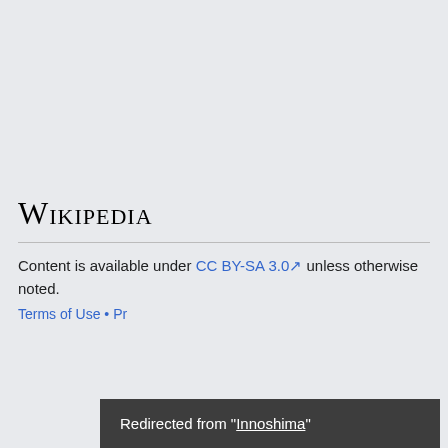Wikipedia
Content is available under CC BY-SA 3.0 unless otherwise noted.
Terms of Use • Privacy
Redirected from "Innoshima"